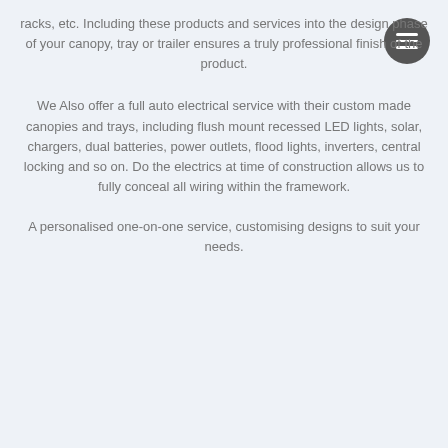racks, etc. Including these products and services into the design phase of your canopy, tray or trailer ensures a truly professional finish of the product.
We Also offer a full auto electrical service with their custom made canopies and trays, including flush mount recessed LED lights, solar, chargers, dual batteries, power outlets, flood lights, inverters, central locking and so on. Do the electrics at time of construction allows us to fully conceal all wiring within the framework.
A personalised one-on-one service, customising designs to suit your needs.